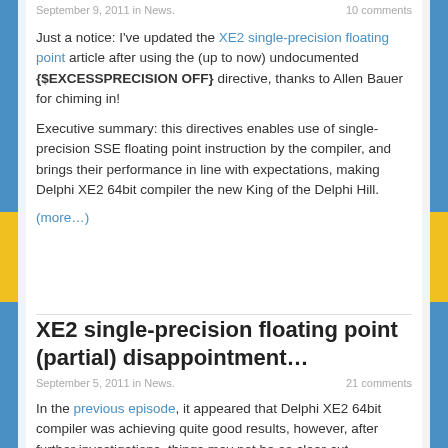September 9, 2011 in News.    10 comments
Just a notice: I've updated the XE2 single-precision floating point article after using the (up to now) undocumented {$EXCESSPRECISION OFF} directive, thanks to Allen Bauer for chiming in!
Executive summary: this directives enables use of single-precision SSE floating point instruction by the compiler, and brings their performance in line with expectations, making Delphi XE2 64bit compiler the new King of the Delphi Hill.
(more…)
XE2 single-precision floating point (partial) disappointment…
September 5, 2011 in News.    21 comments
In the previous episode, it appeared that Delphi XE2 64bit compiler was achieving quite good results, however, after further investigations, things may not be so clear-cut. Transcendental maths, which will be food for a another post,